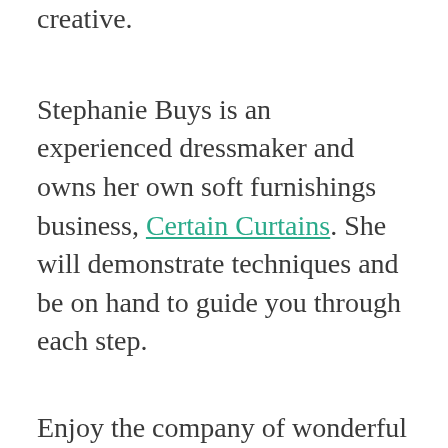creative.
Stephanie Buys is an experienced dressmaker and owns her own soft furnishings business, Certain Curtains. She will demonstrate techniques and be on hand to guide you through each step.
Enjoy the company of wonderful people and free tea and coffee while you work.
When: Every Tuesday morning 10am to 1pm in the Retter studio (starts 29 June)